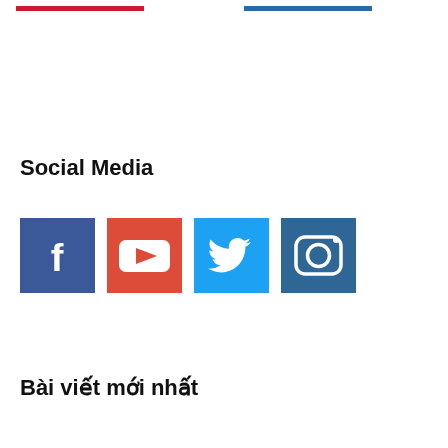[Figure (other): Two horizontal colored bars: a red bar on the left and a blue bar on the right, at the top of the page]
Social Media
[Figure (other): Four social media icon squares in a row: Facebook (dark blue with f logo), YouTube (red with play button logo), Twitter (light blue with bird logo), Instagram (dark blue with camera logo)]
Bài viết mới nhất